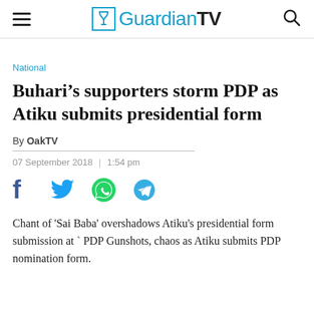GuardianTV
National
Buhari’s supporters storm PDP as Atiku submits presidential form
By OakTV
07 September 2018 | 1:54 pm
[Figure (infographic): Social media share icons: Facebook, Twitter, WhatsApp, Telegram]
Chant of 'Sai Baba' overshadows Atiku's presidential form submission at ` PDP Gunshots, chaos as Atiku submits PDP nomination form.